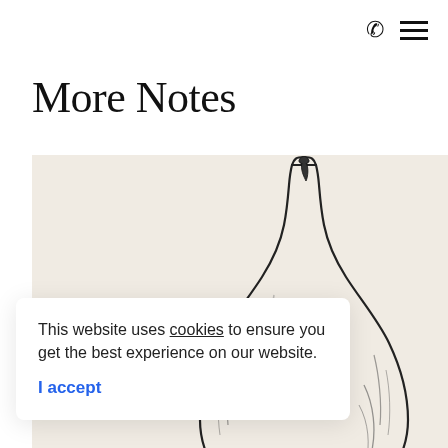☎ ≡
More Notes
[Figure (illustration): A hand-drawn ink sketch of a round glass vessel or flask with a narrow neck, shown against a warm beige/cream background. The bottom of the vessel shows a barcode-like cross-hatched base.]
This website uses cookies to ensure you get the best experience on our website.
I accept